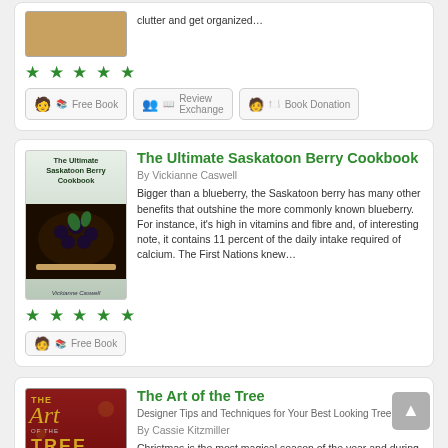[Figure (screenshot): Partial book listing card showing 5 green stars and three action buttons: Free Book, Review Exchange, Book Donation]
Free Book
Review Exchange
Book Donation
The Ultimate Saskatoon Berry Cookbook
By Vickianne Caswell
Bigger than a blueberry, the Saskatoon berry has many other benefits that outshine the more commonly known blueberry. For instance, it’s high in vitamins and fibre and, of interesting note, it contains 11 percent of the daily intake required of calcium. The First Nations knew…
Free Book
The Art of the Tree
Designer Tips and Techniques for Your Best Looking Tree Ever!
By Cassie Kitzmiller
Christmas is the most magical season of the year and during this time many memories and special moments are